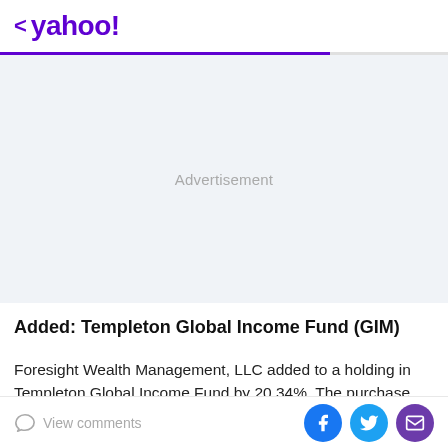< yahoo!
[Figure (other): Advertisement placeholder area with light gray background]
Added: Templeton Global Income Fund (GIM)
Foresight Wealth Management, LLC added to a holding in Templeton Global Income Fund by 20.34%. The purchase
View comments | Facebook | Twitter | Mail